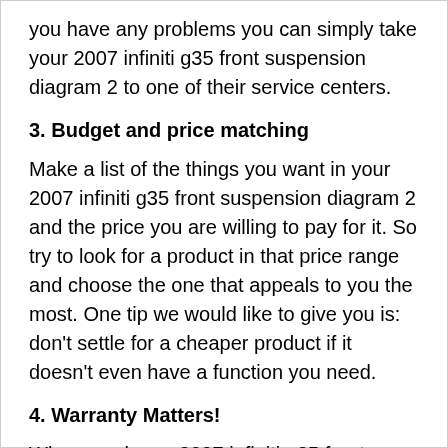you have any problems you can simply take your 2007 infiniti g35 front suspension diagram 2 to one of their service centers.
3. Budget and price matching
Make a list of the things you want in your 2007 infiniti g35 front suspension diagram 2 and the price you are willing to pay for it. So try to look for a product in that price range and choose the one that appeals to you the most. One tip we would like to give you is: don't settle for a cheaper product if it doesn't even have a function you need.
4. Warranty Matters!
When you buy a 2007 infiniti g35 front suspension diagram 2 from a well-known brand, you will get a guarantee. Low-cost products also come with warranties, but the claim process could be tougher. That's why I always suggest you buy the product from a reputed brand and the one that comes under warranty. It will save you from repair costs in the future. On